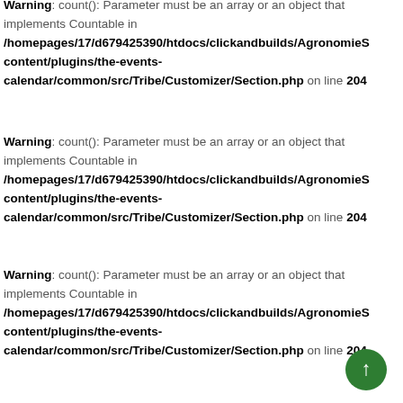Warning: count(): Parameter must be an array or an object that implements Countable in /homepages/17/d679425390/htdocs/clickandbuilds/AgronomieS... content/plugins/the-events-calendar/common/src/Tribe/Customizer/Section.php on line 204
Warning: count(): Parameter must be an array or an object that implements Countable in /homepages/17/d679425390/htdocs/clickandbuilds/AgronomieS... content/plugins/the-events-calendar/common/src/Tribe/Customizer/Section.php on line 204
Warning: count(): Parameter must be an array or an object that implements Countable in /homepages/17/d679425390/htdocs/clickandbuilds/AgronomieS... content/plugins/the-events-calendar/common/src/Tribe/Customizer/Section.php on line 204